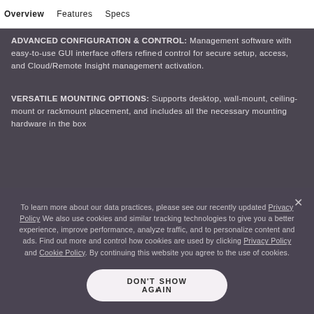Overview   Features   Specs
ADVANCED CONFIGURATION & CONTROL: Management software with easy-to-use GUI interface offers refined control for secure setup, access, and Cloud/Remote Insight management activation.
VERSATILE MOUNTING OPTIONS: Supports desktop, wall-mount, ceiling-mount or rackmount placement, and includes all the necessary mounting hardware in the box
To learn more about our data practices, please see our recently updated Privacy Policy We also use cookies and similar tracking technologies to give you a better experience, improve performance, analyze traffic, and to personalize content and ads. Find out more and control how cookies are used by clicking Privacy Policy and Cookie Policy. By continuing this website you agree to the use of cookies.
DON'T SHOW AGAIN